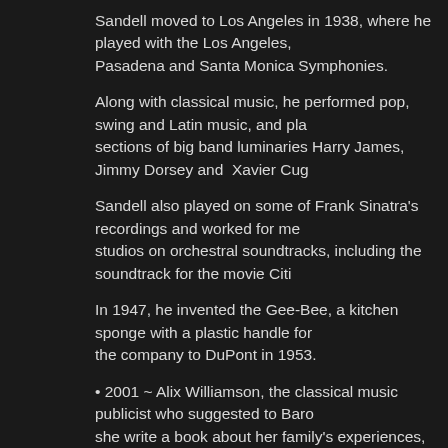Sandell moved to Los Angeles in 1938, where he played with the Los Angeles, Pasadena and Santa Monica Symphonies.
Along with classical music, he performed pop, swing and Latin music, and played in the reed sections of big band luminaries Harry James, Jimmy Dorsey and Xavier Cug...
Sandell also played on some of Frank Sinatra's recordings and worked for me... studios on orchestral soundtracks, including the soundtrack for the movie Citi...
In 1947, he invented the Gee-Bee, a kitchen sponge with a plastic handle for... the company to DuPont in 1953.
2001 ~ Alix Williamson, the classical music publicist who suggested to Baro... she write a book about her family's experiences, died at the age of 85.
Williamson's suggestion resulted in the Rodgers and Hammerstein musical "T...
She represented artists such as André Watts and Frederica von Stade and he... Opera get a citation in the Guinness Book of World Records for its performan... Verdi's operas in Central Park. Williamson also ghostwrote books.
2018 ~ Neil Simon died at the age of 91. He was an American playwright, sc... wrote more than 30 plays and nearly the same number of movie screenplays... plays. He received more combined Oscar and Tony nominations than any oth...